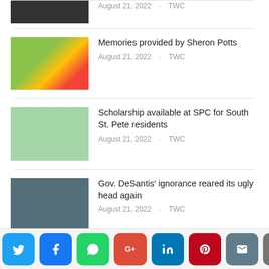[Figure (photo): Partial news thumbnail at top (cropped, dark)]
August 21, 2022 · TWC
[Figure (photo): Woman in colorful outfit at outdoor event]
Memories provided by Sheron Potts
August 21, 2022 · TWC
[Figure (photo): Group of people holding a large check at SPC event]
Scholarship available at SPC for South St. Pete residents
August 21, 2022 · TWC
[Figure (photo): Gov. DeSantis speaking at a podium with flags behind him]
Gov. DeSantis' ignorance reared its ugly head again
August 21, 2022 · TWC
Social share buttons: Twitter, Facebook, WhatsApp, Google+, LinkedIn, Pinterest, Email, Print